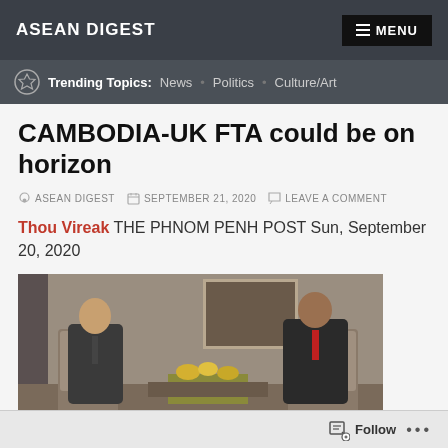ASEAN DIGEST
MENU
Trending Topics: News • Politics • Culture/Art
CAMBODIA-UK FTA could be on horizon
ASEAN DIGEST  SEPTEMBER 21, 2020  LEAVE A COMMENT
Thou Vireak  THE PHNOM PENH POST Sun, September 20, 2020
[Figure (photo): Two men in suits seated in ornate chairs, likely a diplomatic meeting, with flowers on a table between them and a painting in the background.]
Follow